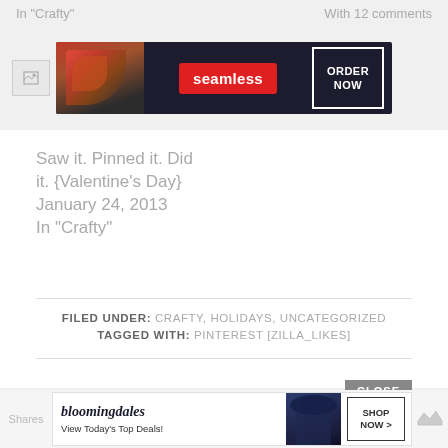In "Crafty"
With 12 comments
[Figure (other): Seamless food delivery advertisement banner with pizza image, seamless logo and ORDER NOW button]
Saw it. Pinned it. Did it. {Valentine's Day}
January 24, 2013
In "Crafty"
FILED UNDER: CRAFTY, HOLIDAYS, UNCATEGORIZED
TAGGED WITH: PINTEREST [ZILLA_LIKES]
CLOSE
Shares
[Figure (other): Bloomingdales advertisement banner with logo, model in hat, View Today's Top Deals text and SHOP NOW button]